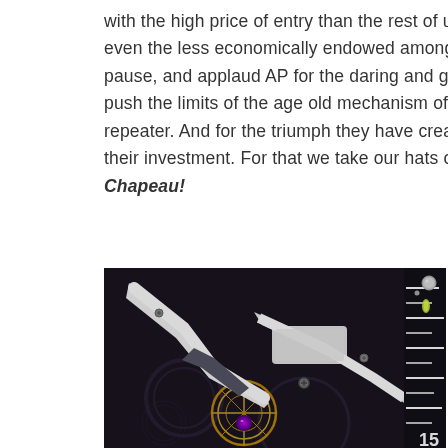with the high price of entry than the rest of us. But even the less economically endowed among us must pause, and applaud AP for the daring and gumption to push the limits of the age old mechanism of the minute repeater. And for the triumph they have created with their investment. For that we take our hats off. Chapeau!
[Figure (photo): Close-up macro photograph of a luxury watch movement showing white skeletal bridges, a tourbillon with purple jewel, gold-colored gear wheels, and a portion of the black dial with the number 15 visible on the right side.]